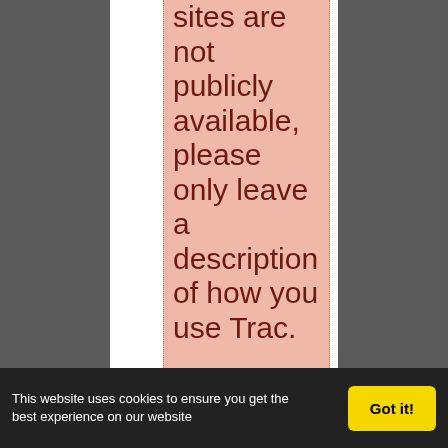sites are not publicly available, please only leave a description of how you use Trac.
As we can't verify them, please update such entries at least
This website uses cookies to ensure you get the best experience on our website